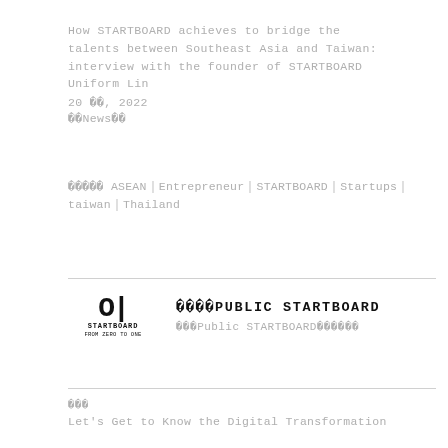How STARTBOARD achieves to bridge the talents between Southeast Asia and Taiwan: interview with the founder of STARTBOARD Uniform Lin
20 □□, 2022
□□News□□
□□□□□□ ASEAN□Entrepreneur□STARTBOARD□Startups□taiwan□Thailand
[Figure (logo): STARTBOARD logo with stylized 'O|' symbol above text 'STARTBOARD' and tagline 'FROM ZERO TO ONE']
□□□□PUBLIC STARTBOARD
□□□Public STARTBOARD□□□□□□
□□□
Let's Get to Know the Digital Transformation